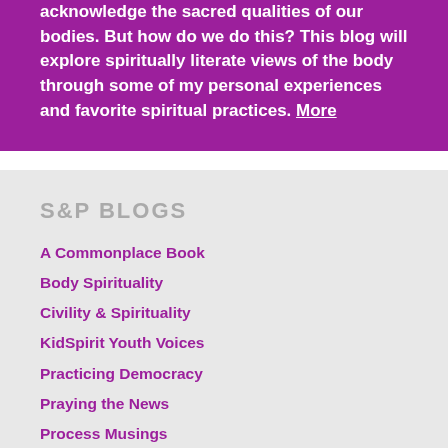acknowledge the sacred qualities of our bodies. But how do we do this? This blog will explore spiritually literate views of the body through some of my personal experiences and favorite spiritual practices. More
S&P BLOGS
A Commonplace Book
Body Spirituality
Civility & Spirituality
KidSpirit Youth Voices
Practicing Democracy
Praying the News
Process Musings
Short & Sweet Spirituality
Spiritual Literacy
The Ritual Space